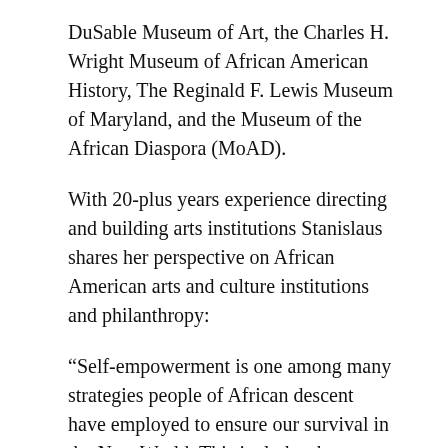DuSable Museum of Art, the Charles H. Wright Museum of African American History, The Reginald F. Lewis Museum of Maryland, and the Museum of the African Diaspora (MoAD).
With 20-plus years experience directing and building arts institutions Stanislaus shares her perspective on African American arts and culture institutions and philanthropy:
“Self-empowerment is one among many strategies people of African descent have employed to ensure our survival in the New World. This includes the creation of museums and cultural centers that document, recognize and celebrate the art, culture, history and contributions of African Americans. These institutions, many of which were established as a result of public/private partnerships, bear testimony to the hard battles fought to bring dreams to fruition.”